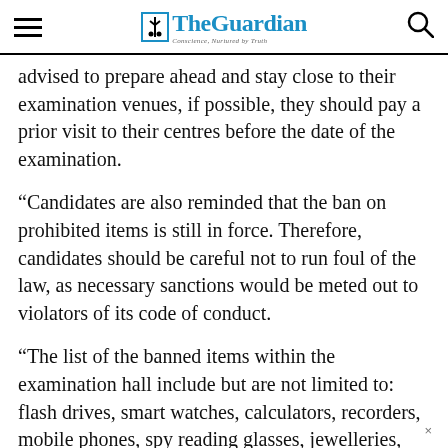The Guardian — Conscience, Nurtured by Truth
advised to prepare ahead and stay close to their examination venues, if possible, they should pay a prior visit to their centres before the date of the examination.
“Candidates are also reminded that the ban on prohibited items is still in force. Therefore, candidates should be careful not to run foul of the law, as necessary sanctions would be meted out to violators of its code of conduct.
“The list of the banned items within the examination hall include but are not limited to: flash drives, smart watches, calculators, recorders, mobile phones, spy reading glasses, jewelleries,